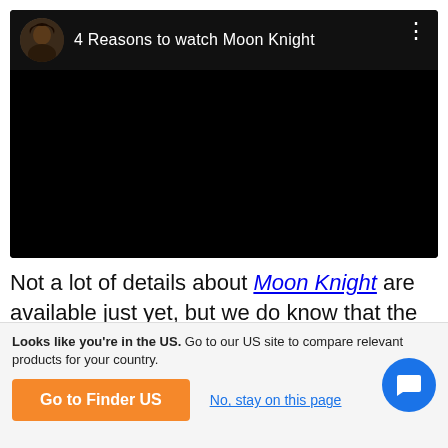[Figure (screenshot): Embedded video player with black content area. Header shows a circular avatar photo of a person with dark hair, title '4 Reasons to watch Moon Knight', and a vertical three-dot menu icon.]
Not a lot of details about Moon Knight are available just yet, but we do know that the series will be based
Looks like you're in the US. Go to our US site to compare relevant products for your country.
Go to Finder US
No, stay on this page